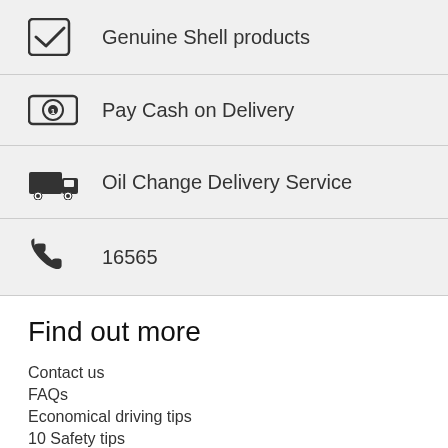Genuine Shell products
Pay Cash on Delivery
Oil Change Delivery Service
16565
Find out more
Contact us
FAQs
Economical driving tips
10 Safety tips
Keep in Touch